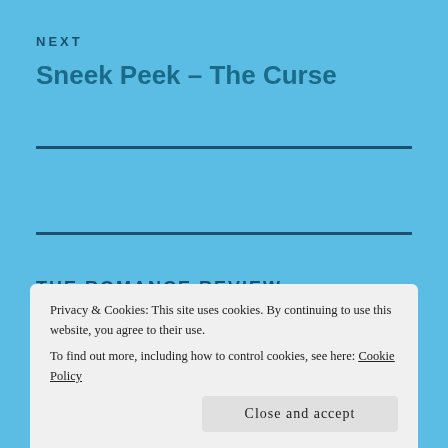NEXT
Sneek Peek – The Curse
THE ROMANCE REVIEW
[Figure (photo): Partial image strip showing dark and red colored banner for The Romance Review]
Privacy & Cookies: This site uses cookies. By continuing to use this website, you agree to their use.
To find out more, including how to control cookies, see here: Cookie Policy
Close and accept